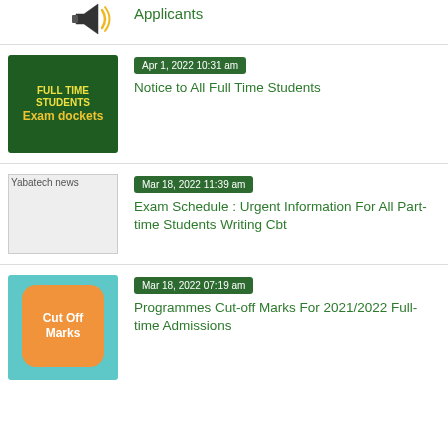[Figure (illustration): Megaphone/announcement icon]
Applicants
[Figure (illustration): Full Time Students Exam Dockets green thumbnail]
Apr 1, 2022 10:31 am
Notice to All Full Time Students
[Figure (illustration): Yabatech news placeholder image]
Mar 18, 2022 11:39 am
Exam Schedule : Urgent Information For All Part-time Students Writing Cbt
[Figure (illustration): Cut Off Marks orange and teal thumbnail]
Mar 18, 2022 07:19 am
Programmes Cut-off Marks For 2021/2022 Full-time Admissions